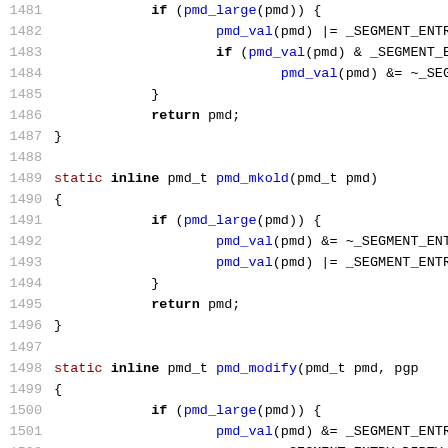Source code listing lines 1481-1510 showing pmd_mkold and pmd_modify C functions with line numbers
1481:             if (pmd_large(pmd)) {
1482:                     pmd_val(pmd) |= _SEGMENT_ENTR
1483:                     if (pmd_val(pmd) & _SEGMENT_E
1484:                             pmd_val(pmd) &= ~_SEG
1485:             }
1486:             return pmd;
1487: }
1488:
1489: static inline pmd_t pmd_mkold(pmd_t pmd)
1490: {
1491:             if (pmd_large(pmd)) {
1492:                     pmd_val(pmd) &= ~_SEGMENT_ENT
1493:                     pmd_val(pmd) |= _SEGMENT_ENTR
1494:             }
1495:             return pmd;
1496: }
1497:
1498: static inline pmd_t pmd_modify(pmd_t pmd, pgp
1499: {
1500:             if (pmd_large(pmd)) {
1501:                     pmd_val(pmd) &= _SEGMENT_ENTR
1502:                             _SEGMENT_ENTRY_DIRTY
1503:                             _SEGMENT_ENTRY_LARGE
1504:                     pmd_val(pmd) |= massage_pgpro
1505:                     if (!(pmd_val(pmd) & _SEGMENT
1506:                             pmd_val(pmd) |= _SEGM
1507:                     if (!(pmd_val(pmd) & _SEGMENT
1508:                             pmd_val(pmd) |= _SEGM
1509:             return pmd;
1510:     }